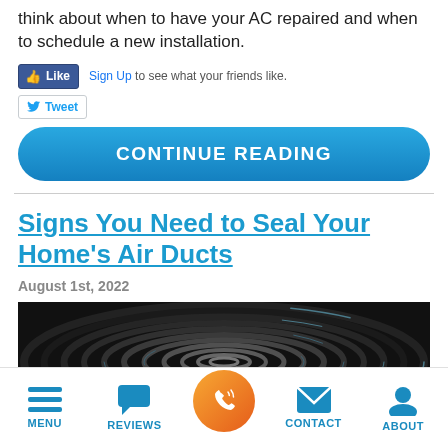think about when to have your AC repaired and when to schedule a new installation.
[Figure (screenshot): Facebook Like button and Twitter Tweet button with Sign Up text]
[Figure (other): Blue rounded CONTINUE READING button]
Signs You Need to Seal Your Home’s Air Ducts
August 1st, 2022
[Figure (photo): Photo of dark spiral air duct interior viewed from inside]
MENU | REVIEWS | (call button) | CONTACT | ABOUT